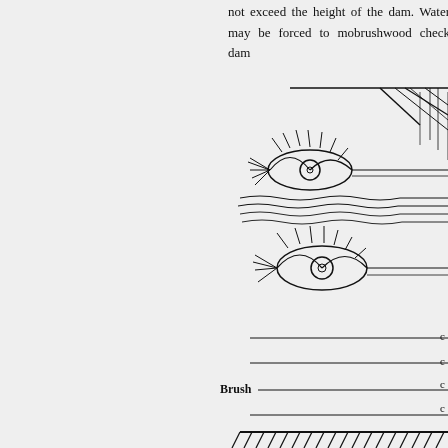not exceed the height of the dam. Water may be forced to move around the brushwood check dam
[Figure (engineering-diagram): Cross-section engineering diagram of a brushwood check dam showing brush layers, stakes, and water flow indicators (eye-shaped symbols). Labels include 'Brush' with horizontal lines indicating layers. Bottom shows hatching for ground surface. Partial view - right portion of diagram visible.]